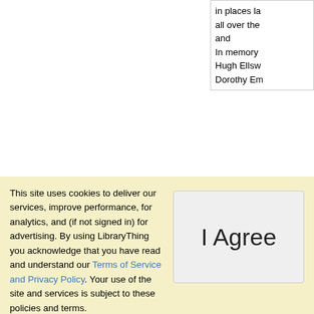|  | in places la
all over the
and
In memory
Hugh Ellsw
Dorothy Em |
| First words | (Author's n |
|  | Why on ea
tinted wind |
| Quotations | "The Scru
Hair"
 title for thi |
This site uses cookies to deliver our services, improve performance, for analytics, and (if not signed in) for advertising. By using LibraryThing you acknowledge that you have read and understand our Terms of Service and Privacy Policy. Your use of the site and services is subject to these policies and terms.